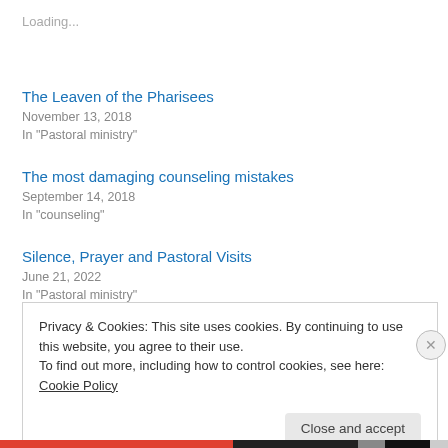Loading...
The Leaven of the Pharisees
November 13, 2018
In "Pastoral ministry"
The most damaging counseling mistakes
September 14, 2018
In "counseling"
Silence, Prayer and Pastoral Visits
June 21, 2022
In "Pastoral ministry"
Privacy & Cookies: This site uses cookies. By continuing to use this website, you agree to their use.
To find out more, including how to control cookies, see here: Cookie Policy
Close and accept